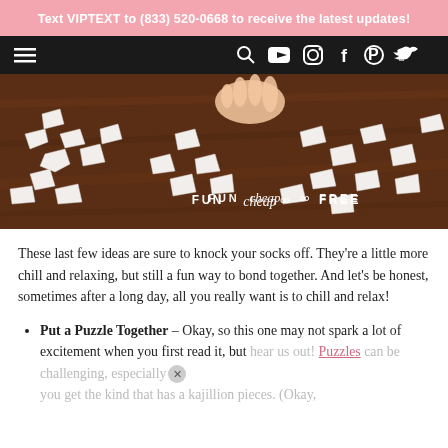Text VIPTEXT to (833) 520-0668 to receive the latest updates!
[Figure (screenshot): Dark navigation bar with hamburger menu on left and icons (search, YouTube, Instagram, Facebook, Pinterest, Twitter) on right]
[Figure (photo): Person assembling a jigsaw puzzle on a wooden table, puzzle pieces scattered around. FunCheapOrFree logo overlaid at bottom center.]
These last few ideas are sure to knock your socks off. They're a little more chill and relaxing, but still a fun way to bond together. And let's be honest, sometimes after a long day, all you really want is to chill and relax!
Put a Puzzle Together – Okay, so this one may not spark a lot of excitement when you first read it, but hear us out! Puzzles can be challenging, especially you get the kind that has a kajillion pieces. (Okay,